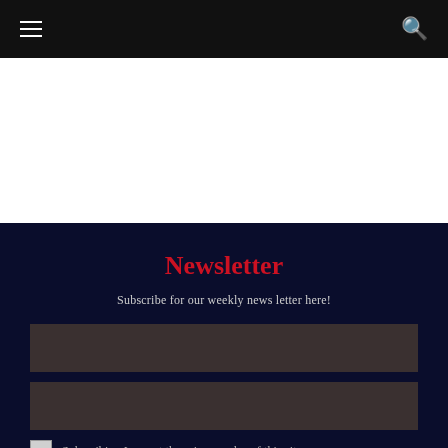Navigation bar with hamburger menu and search icon
Newsletter
Subscribe for our weekly news letter here!
[Figure (other): Email input text field (dark background)]
[Figure (other): Name input text field (dark background)]
Subscribing I accept the privacy rules of this site
SUBSCRIBE NOW
You can unsubscribe us at any time